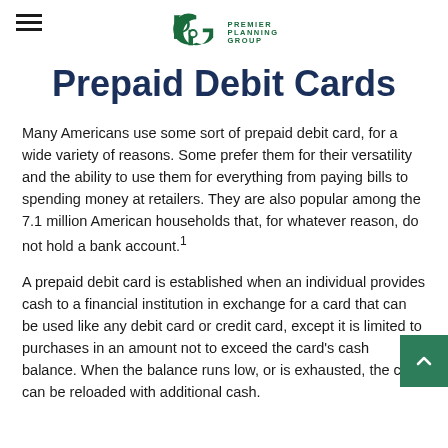Premier Planning Group
Prepaid Debit Cards
Many Americans use some sort of prepaid debit card, for a wide variety of reasons. Some prefer them for their versatility and the ability to use them for everything from paying bills to spending money at retailers. They are also popular among the 7.1 million American households that, for whatever reason, do not hold a bank account.1
A prepaid debit card is established when an individual provides cash to a financial institution in exchange for a card that can be used like any debit card or credit card, except it is limited to purchases in an amount not to exceed the card's cash balance. When the balance runs low, or is exhausted, the card can be reloaded with additional cash.